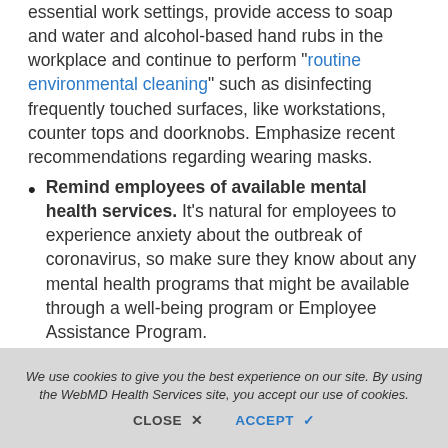essential work settings, provide access to soap and water and alcohol-based hand rubs in the workplace and continue to perform "routine environmental cleaning" such as disinfecting frequently touched surfaces, like workstations, counter tops and doorknobs. Emphasize recent recommendations regarding wearing masks.
Remind employees of available mental health services. It's natural for employees to experience anxiety about the outbreak of coronavirus, so make sure they know about any mental health programs that might be available through a well-being program or Employee Assistance Program.
Encourage employees to use telemedicine. Health care providers across the United
We use cookies to give you the best experience on our site. By using the WebMD Health Services site, you accept our use of cookies.